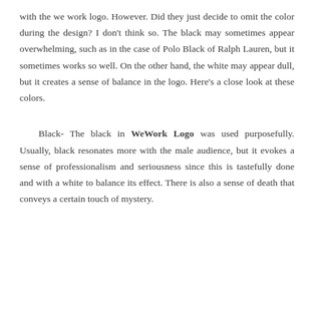with the we work logo. However. Did they just decide to omit the color during the design? I don't think so. The black may sometimes appear overwhelming, such as in the case of Polo Black of Ralph Lauren, but it sometimes works so well. On the other hand, the white may appear dull, but it creates a sense of balance in the logo. Here's a close look at these colors.
Black- The black in WeWork Logo was used purposefully. Usually, black resonates more with the male audience, but it evokes a sense of professionalism and seriousness since this is tastefully done and with a white to balance its effect. There is also a sense of death that conveys a certain touch of mystery.